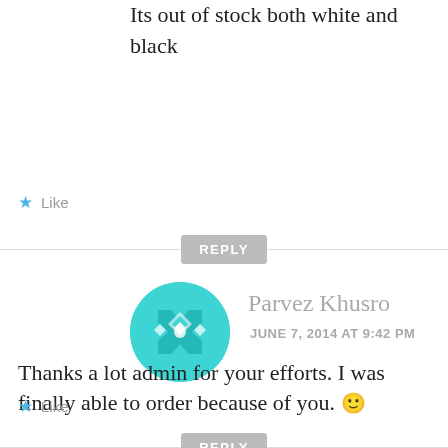Its out of stock both white and black
Like
REPLY
[Figure (illustration): Circular avatar with teal geometric diamond/cross pattern on white background]
Parvez Khusro
JUNE 7, 2014 AT 9:42 PM
Thanks a lot admin for your efforts. I was finally able to order because of you. 🙂
Like
REPLY